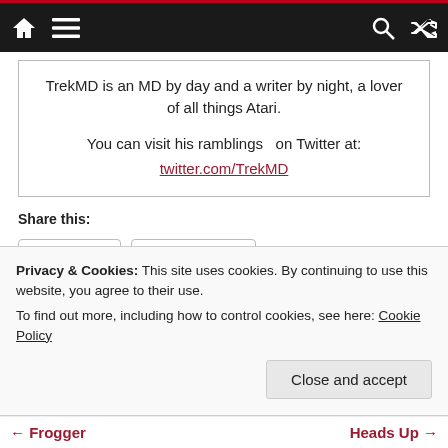Navigation bar with home, menu, search, shuffle icons
TrekMD is an MD by day and a writer by night, a lover of all things Atari.

You can visit his ramblings  on Twitter at:
twitter.com/TrekMD
Share this:
Twitter  Facebook
Like this:
Privacy & Cookies: This site uses cookies. By continuing to use this website, you agree to their use.
To find out more, including how to control cookies, see here: Cookie Policy
← Frogger    Heads Up →